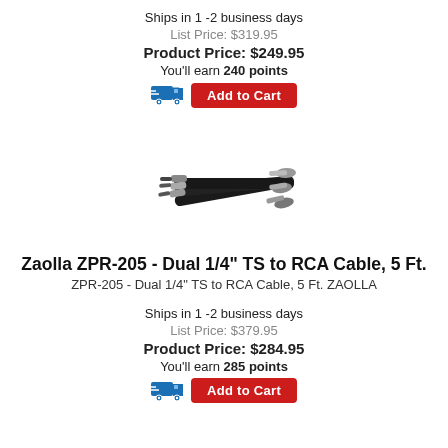Ships in 1 -2 business days
List Price: $319.95
Product Price: $249.95
You'll earn 240 points
[Figure (photo): Black cables with silver RCA/TS connectors fanned out]
Zaolla ZPR-205 - Dual 1/4" TS to RCA Cable, 5 Ft.
ZPR-205 - Dual 1/4" TS to RCA Cable, 5 Ft. ZAOLLA
Ships in 1 -2 business days
List Price: $379.95
Product Price: $284.95
You'll earn 285 points